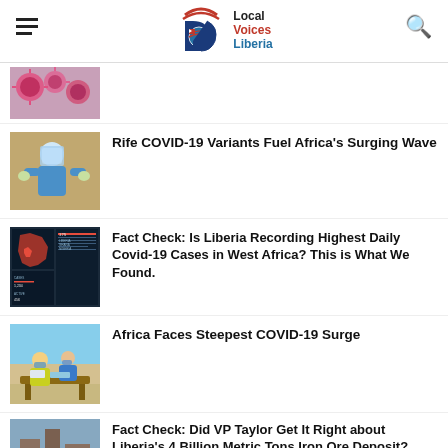Local Voices Liberia
[Figure (photo): COVID-19 coronavirus particles (partial, cropped at top)]
[Figure (photo): Medical worker in PPE gear administering COVID-19 test]
Rife COVID-19 Variants Fuel Africa's Surging Wave
[Figure (screenshot): Map and data dashboard showing COVID-19 statistics in West Africa/Liberia]
Fact Check: Is Liberia Recording Highest Daily Covid-19 Cases in West Africa? This is What We Found.
[Figure (photo): People in masks and vests at COVID-19 testing or vaccination site in Africa]
Africa Faces Steepest COVID-19 Surge
[Figure (photo): Construction or building scene in Liberia (partial)]
Fact Check: Did VP Taylor Get It Right about Liberia's 4 Billion Metric Tons Iron Ore Deposit?